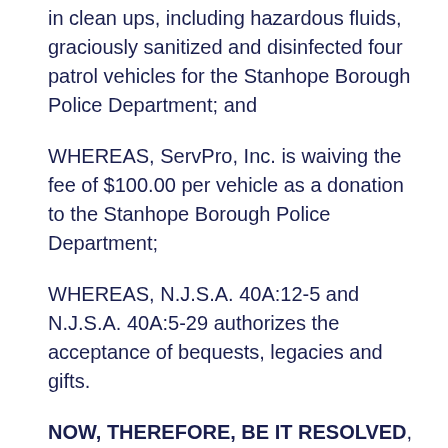in clean ups, including hazardous fluids, graciously sanitized and disinfected four patrol vehicles for the Stanhope Borough Police Department; and
WHEREAS, ServPro, Inc. is waiving the fee of $100.00 per vehicle as a donation to the Stanhope Borough Police Department;
WHEREAS, N.J.S.A. 40A:12-5 and N.J.S.A. 40A:5-29 authorizes the acceptance of bequests, legacies and gifts.
NOW, THEREFORE, BE IT RESOLVED, that the Borough of Stanhope authorizes acceptance of the donation of vehicle sanitation and disinfection by ServPro, Inc. in the total amount of $400.00.